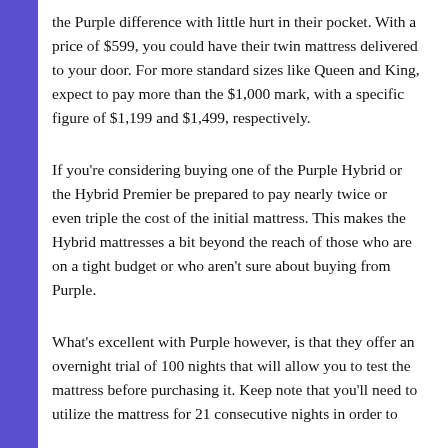the Purple difference with little hurt in their pocket. With a price of $599, you could have their twin mattress delivered to your door. For more standard sizes like Queen and King, expect to pay more than the $1,000 mark, with a specific figure of $1,199 and $1,499, respectively.
If you're considering buying one of the Purple Hybrid or the Hybrid Premier be prepared to pay nearly twice or even triple the cost of the initial mattress. This makes the Hybrid mattresses a bit beyond the reach of those who are on a tight budget or who aren't sure about buying from Purple.
What's excellent with Purple however, is that they offer an overnight trial of 100 nights that will allow you to test the mattress before purchasing it. Keep note that you'll need to utilize the mattress for 21 consecutive nights in order to